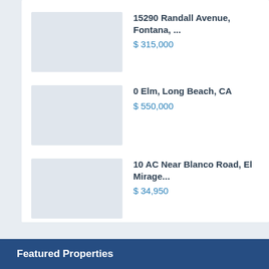15290 Randall Avenue, Fontana, ...
$ 315,000
0 Elm, Long Beach, CA
$ 550,000
10 AC Near Blanco Road, El Mirage...
$ 34,950
Featured Properties